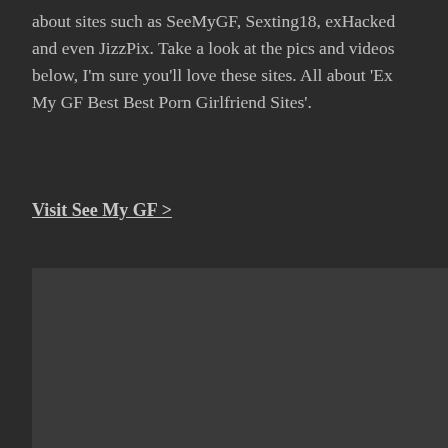about sites such as SeeMyGF, Sexting18, exHacked and even JizzPix. Take a look at the pics and videos below, I'm sure you'll love these sites. All about 'Ex My GF Best Best Porn Girlfriend Sites'.
Visit See My GF >
[Figure (photo): Dark gray placeholder image block]